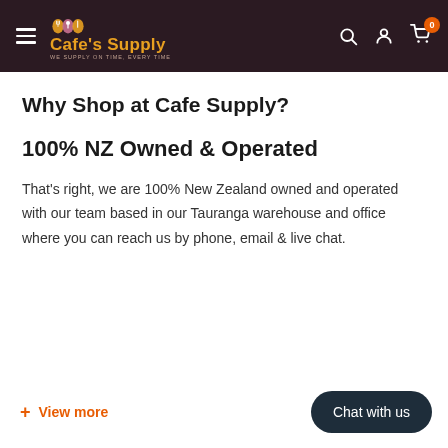Cafe's Supply — WE SUPPLY ON TIME, EVERY TIME — navigation header with search, account, and cart icons
Why Shop at Cafe Supply?
100% NZ Owned & Operated
That's right, we are 100% New Zealand owned and operated with our team based in our Tauranga warehouse and office where you can reach us by phone, email & live chat.
+ View more